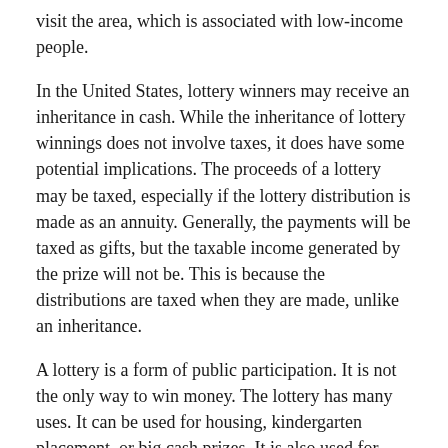visit the area, which is associated with low-income people.
In the United States, lottery winners may receive an inheritance in cash. While the inheritance of lottery winnings does not involve taxes, it does have some potential implications. The proceeds of a lottery may be taxed, especially if the lottery distribution is made as an annuity. Generally, the payments will be taxed as gifts, but the taxable income generated by the prize will not be. This is because the distributions are taxed when they are made, unlike an inheritance.
A lottery is a form of public participation. It is not the only way to win money. The lottery has many uses. It can be used for housing, kindergarten placement, or big cash prizes. It is also used for sports. For example, the National Basketball Association holds a lottery every year to determine its draft picks. The winning team has a chance to select the best college talent. A winning lottery is an excellent opportunity